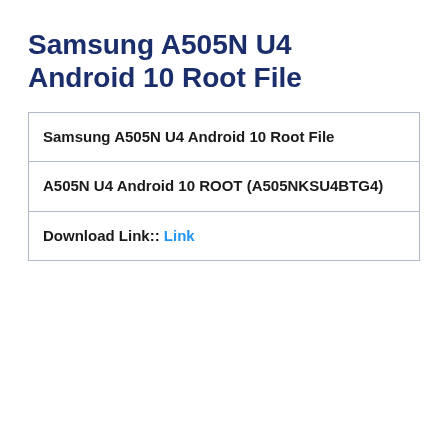Samsung A505N U4 Android 10 Root File
| Samsung A505N U4 Android 10 Root File |
| A505N U4 Android 10 ROOT (A505NKSU4BTG4) |
| Download Link:: Link |